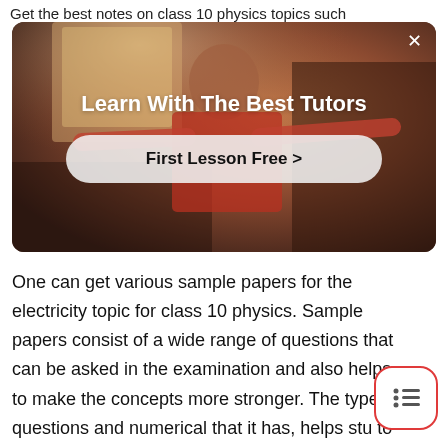Get the best notes on class 10 physics topics such
[Figure (screenshot): Advertisement banner with dark warm-toned background showing a person in a red shirt. White bold text reads 'Learn With The Best Tutors'. Below is a rounded pill-shaped button with text 'First Lesson Free >' and a close (×) button in the top right corner.]
One can get various sample papers for the electricity topic for class 10 physics. Sample papers consist of a wide range of questions that can be asked in the examination and also helps to make the concepts more stronger. The type of questions and numerical that it has, helps stu to understand the concepts better.
[Figure (other): Floating menu button with rounded square border in red/pink, containing three horizontal lines (hamburger menu icon)]